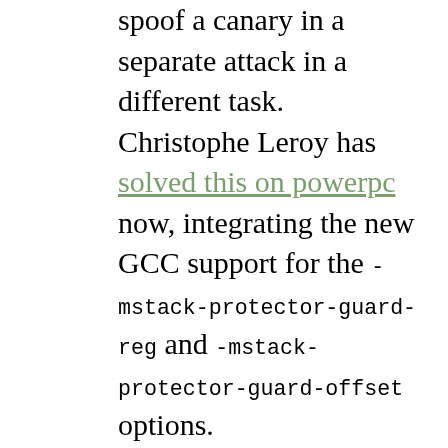spoof a canary in a separate attack in a different task. Christophe Leroy has solved this on powerpc now, integrating the new GCC support for the -mstack-protector-guard-reg and -mstack-protector-guard-offset options.

Given the holidays, Linus opened the merge window before v4.20 was released, lotting